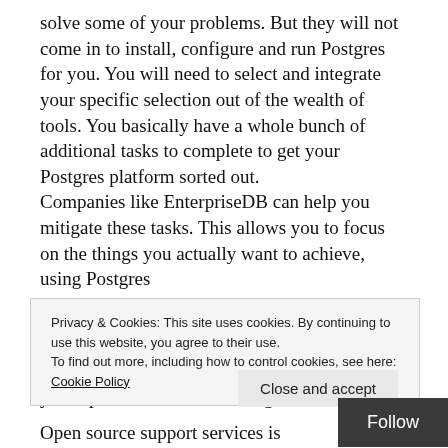solve some of your problems. But they will not come in to install, configure and run Postgres for you. You will need to select and integrate your specific selection out of the wealth of tools. You basically have a whole bunch of additional tasks to complete to get your Postgres platform sorted out.
Companies like EnterpriseDB can help you mitigate these tasks. This allows you to focus on the things you actually want to achieve, using Postgres
In comparison to traditional database vendors, the overall price of your solution will absolutely significantly reduce when using Postgres as your open source database engine.
Privacy & Cookies: This site uses cookies. By continuing to use this website, you agree to their use.
To find out more, including how to control cookies, see here: Cookie Policy
Close and accept
Follow
Open source support services is interchangeability,